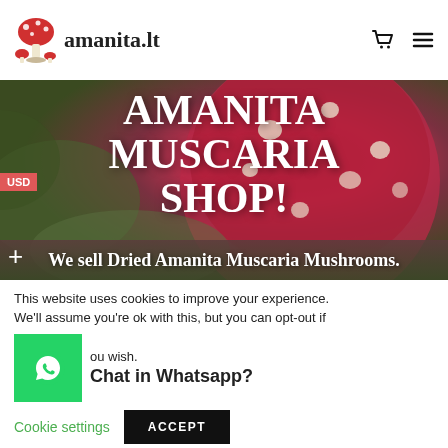amanita.lt
AMANITA MUSCARIA SHOP!
We sell Dried Amanita Muscaria Mushrooms.
USD
This website uses cookies to improve your experience. We'll assume you're ok with this, but you can opt-out if you wish.
Chat in Whatsapp?
Cookie settings
ACCEPT